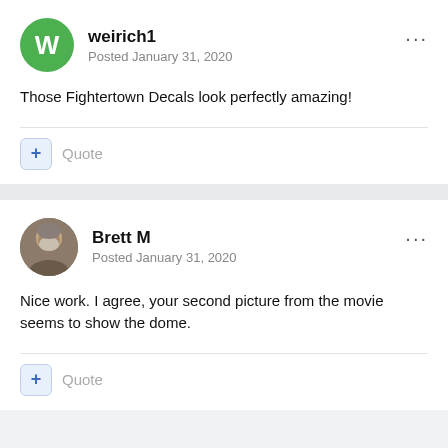weirich1
Posted January 31, 2020
Those Fightertown Decals look perfectly amazing!
Quote
Brett M
Posted January 31, 2020
Nice work. I agree, your second picture from the movie seems to show the dome.
Quote